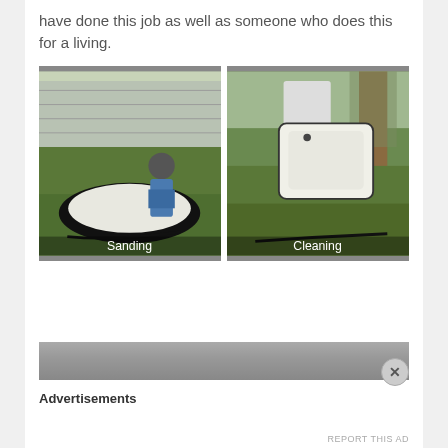have done this job as well as someone who does this for a living.
[Figure (photo): Photo of a person sanding a bathtub outdoors on grass, with a fence in the background. Label 'Sanding' at the bottom.]
[Figure (photo): Photo of a person cleaning a white bathtub outdoors on grass near a tree. Label 'Cleaning' at the bottom.]
[Figure (photo): Partial bottom strip photo, cut off.]
Advertisements